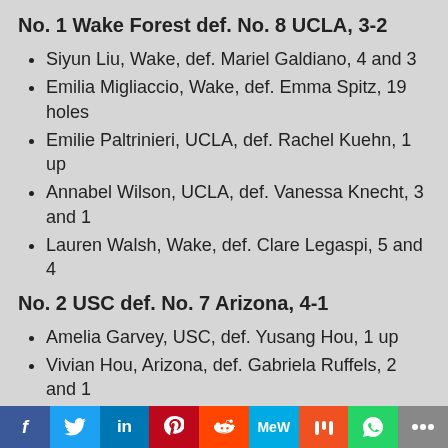No. 1 Wake Forest def. No. 8 UCLA, 3-2
Siyun Liu, Wake, def. Mariel Galdiano, 4 and 3
Emilia Migliaccio, Wake, def. Emma Spitz, 19 holes
Emilie Paltrinieri, UCLA, def. Rachel Kuehn, 1 up
Annabel Wilson, UCLA, def. Vanessa Knecht, 3 and 1
Lauren Walsh, Wake, def. Clare Legaspi, 5 and 4
No. 2 USC def. No. 7 Arizona, 4-1
Amelia Garvey, USC, def. Yusang Hou, 1 up
Vivian Hou, Arizona, def. Gabriela Ruffels, 2 and 1
Malia Nam, USC, def. Therese Warner, 5 and 4
Alyaa Abdulghany, USC, def. Hollie Muse, 3 and 1
Allisen Corpuz, USC, def. Ya Chun Chang, 4 and 3
Social share bar: Facebook, Twitter, LinkedIn, Pinterest, Reddit, MeWe, Mix, WhatsApp, More